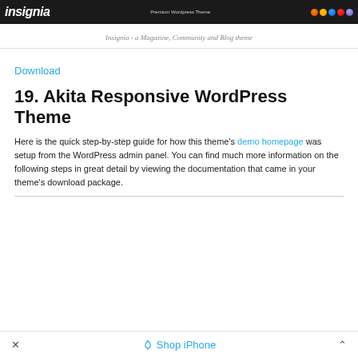[Figure (screenshot): Insignia Premium WordPress Theme banner header — dark background with white italic logo text 'insignia', tagline 'Premium Wordpress Theme', and browser icons on right side]
Insignia - a Magazine, Community and Blog theme
Download
19. Akita Responsive WordPress Theme
Here is the quick step-by-step guide for how this theme's demo homepage was setup from the WordPress admin panel. You can find much more information on the following steps in great detail by viewing the documentation that came in your theme's download package.
× Shop iPhone ^